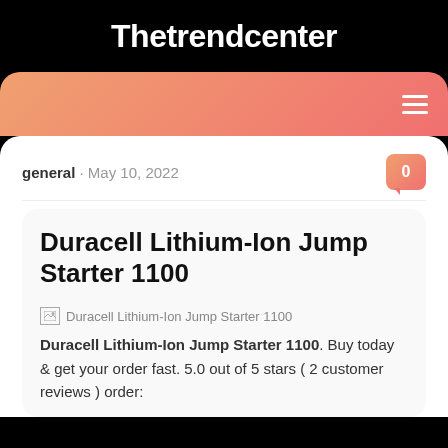Thetrendcenter
Duracell Lithium-Ion Jump Starter 1100
general · May 10, 2022
Duracell Lithium-Ion Jump Starter 1100. Buy today & get your order fast. 5.0 out of 5 stars ( 2 customer reviews ) order: